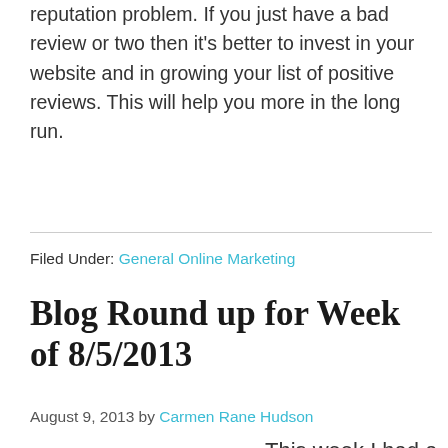reputation problem. If you just have a bad review or two then it's better to invest in your website and in growing your list of positive reviews. This will help you more in the long run.
Filed Under: General Online Marketing
Blog Round up for Week of 8/5/2013
August 9, 2013 by Carmen Rane Hudson
[Figure (illustration): A circular logo with blue concentric rings and a dark center with a white arrow/chevron symbol inside.]
This week I had a little bit